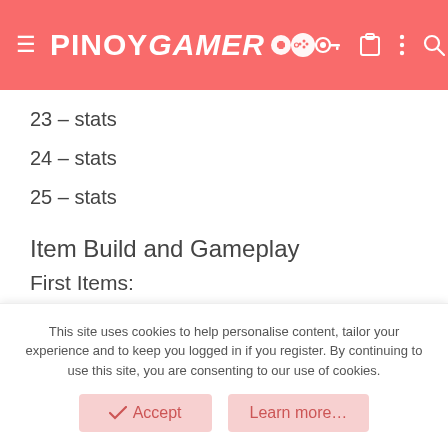PINOYGAMER
23 – stats
24 – stats
25 – stats
Item Build and Gameplay
First Items:
Circlet
Iron Branch
Gauntlets of Strength
This site uses cookies to help personalise content, tailor your experience and to keep you logged in if you register. By continuing to use this site, you are consenting to our use of cookies.